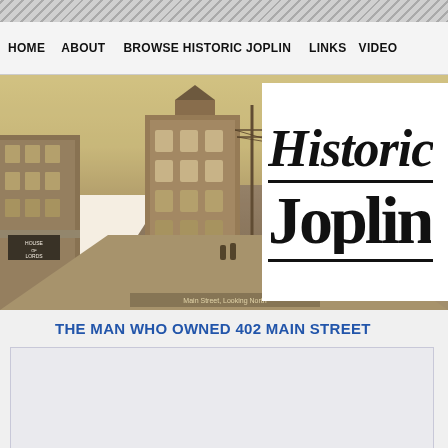HOME | ABOUT | BROWSE HISTORIC JOPLIN | LINKS | VIDEO
[Figure (photo): Sepia-toned historical photograph of Main Street in Joplin, Missouri showing a multi-story brick building with a turret at an intersection, street with period vehicles and pedestrians, utility poles, and storefronts on both sides. Caption reads 'Main Street, Looking North'.]
[Figure (illustration): Large decorative text logo reading 'Historic Joplin' with italic serif font, two horizontal rules above and below 'Joplin']
THE MAN WHO OWNED 402 MAIN STREET